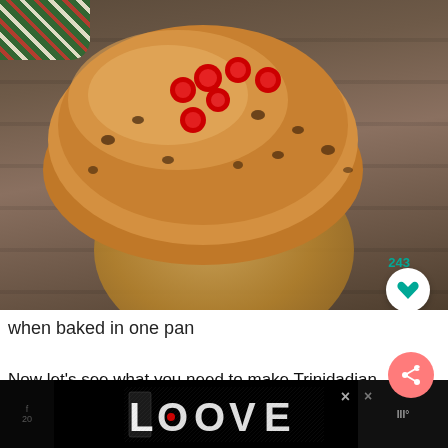[Figure (photo): A fruit cake / loaf bread with red cherries on top, placed on a wooden cutting board, with a plaid cloth in the background corner. Screenshot from a recipe website/app showing 243 likes and UI buttons for heart, search, and share.]
when baked in one pan
Now let's see what you need to make Trinidadian
[Figure (logo): LOOVE stylized black and white logo/advertisement banner at the bottom of the screen with X close buttons on either side]